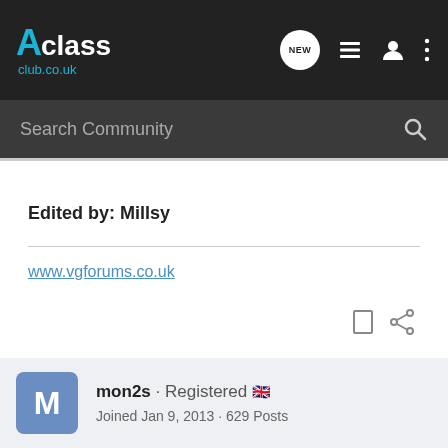Aclass club.co.uk
Search Community
Edited by: Millsy
www.vgforums.co.uk
mon2s · Registered 🇬🇧
Joined Jan 9, 2013 · 629 Posts